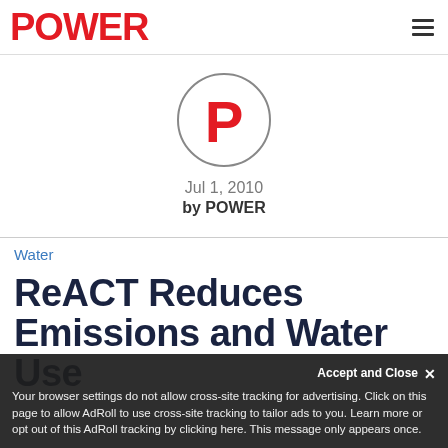POWER
[Figure (logo): POWER magazine circular logo with red letter P in a circle]
Jul 1, 2010
by POWER
Water
ReACT Reduces Emissions and Water Use
Accept and Close ×
Your browser settings do not allow cross-site tracking for advertising. Click on this page to allow AdRoll to use cross-site tracking to tailor ads to you. Learn more or opt out of this AdRoll tracking by clicking here. This message only appears once.